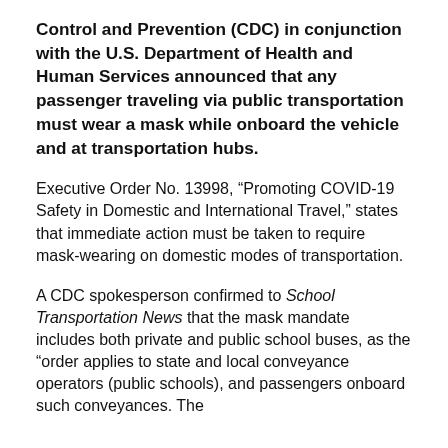Control and Prevention (CDC) in conjunction with the U.S. Department of Health and Human Services announced that any passenger traveling via public transportation must wear a mask while onboard the vehicle and at transportation hubs.
Executive Order No. 13998, “Promoting COVID-19 Safety in Domestic and International Travel,” states that immediate action must be taken to require mask-wearing on domestic modes of transportation.
A CDC spokesperson confirmed to School Transportation News that the mask mandate includes both private and public school buses, as the “order applies to state and local conveyance operators (public schools), and passengers onboard such conveyances. The